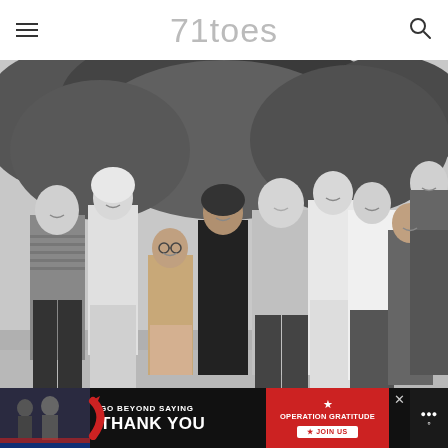71toes
[Figure (photo): Black and white family photo showing approximately 10 people of various ages standing together outdoors in front of trees, smiling at the camera]
[Figure (infographic): Advertisement banner: 'GO BEYOND SAYING THANK YOU' with Operation Gratitude logo and JOIN US button, dark background with military imagery]